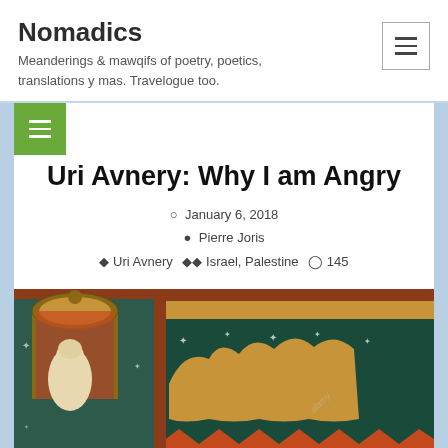Nomadics
Meanderings & mawqifs of poetry, poetics, translations y mas. Travelogue too.
Uri Avnery: Why I am Angry
January 6, 2018
Pierre Joris
Uri Avnery   Israel, Palestine   145
[Figure (photo): Medieval illuminated manuscript image showing a robed figure under a domed canopy on the left, and stylized camel-like figures on a golden background with decorative patterns on the right. Alamy watermark visible.]